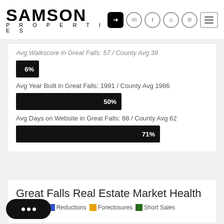[Figure (logo): Samson Properties logo]
Avg Walkscore in Great Falls: 57 / County Avg 39
[Figure (bar-chart): Walkscore bar]
Avg Year Built in Great Falls: 1991 / County Avg 1986
[Figure (bar-chart): Year Built bar]
Avg Days on Website in Great Falls: 88 / County Avg 62
[Figure (bar-chart): Days on Website bar]
Great Falls Real Estate Market Health
Listings  Reductions  Foreclosures  Short Sales